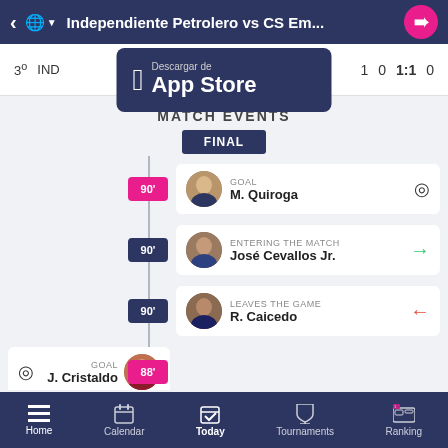Independiente Petrolero vs CS Em...
3° IND 1 0 1:1 0
[Figure (screenshot): App Store download badge: Descargar de App Store]
MATCH EVENTS
FINAL
90' GOAL M. Quiroga
90' ENTERING THE MATCH José Cevallos Jr.
90' LEAVES THE GAME R. Caicedo
88' GOAL J. Cristaldo
ENTERING THE MATCH (partial)
Home | Calendar | Today | Tournaments | Ranking